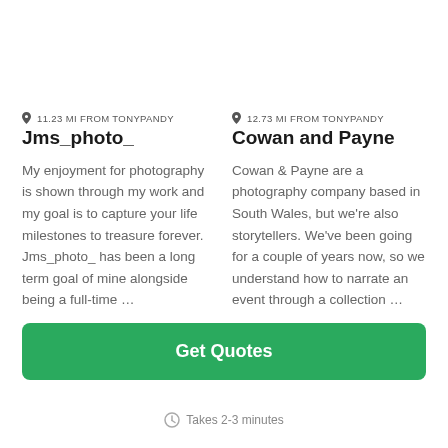11.23 MI FROM TONYPANDY
Jms_photo_
My enjoyment for photography is shown through my work and my goal is to capture your life milestones to treasure forever. Jms_photo_ has been a long term goal of mine alongside being a full-time …
12.73 MI FROM TONYPANDY
Cowan and Payne
Cowan & Payne are a photography company based in South Wales, but we're also storytellers. We've been going for a couple of years now, so we understand how to narrate an event through a collection …
Get Quotes
Takes 2-3 minutes